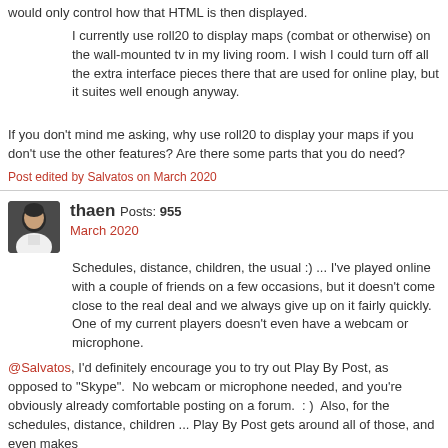would only control how that HTML is then displayed.
I currently use roll20 to display maps (combat or otherwise) on the wall-mounted tv in my living room. I wish I could turn off all the extra interface pieces there that are used for online play, but it suites well enough anyway.
If you don't mind me asking, why use roll20 to display your maps if you don't use the other features? Are there some parts that you do need?
Post edited by Salvatos on March 2020
thaen Posts: 955
March 2020
Schedules, distance, children, the usual :) ... I've played online with a couple of friends on a few occasions, but it doesn't come close to the real deal and we always give up on it fairly quickly. One of my current players doesn't even have a webcam or microphone.
@Salvatos, I'd definitely encourage you to try out Play By Post, as opposed to "Skype".  No webcam or microphone needed, and you're obviously already comfortable posting on a forum.  : )  Also, for the schedules, distance, children ... Play By Post gets around all of those, and even makes